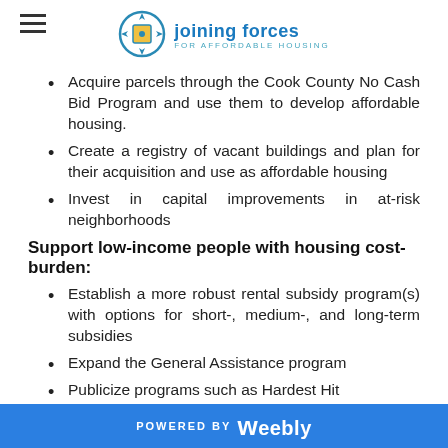[Figure (logo): Joining Forces for Affordable Housing logo with compass/gear icon and teal/yellow colors]
Acquire parcels through the Cook County No Cash Bid Program and use them to develop affordable housing.
Create a registry of vacant buildings and plan for their acquisition and use as affordable housing
Invest in capital improvements in at-risk neighborhoods
Support low-income people with housing cost-burden:
Establish a more robust rental subsidy program(s) with options for short-, medium-, and long-term subsidies
Expand the General Assistance program
Publicize programs such as Hardest Hit
Support programs that help to reduce costs for
POWERED BY weebly